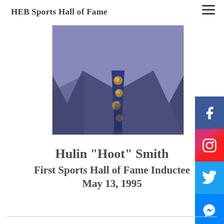HEB Sports Hall of Fame
[Figure (photo): Photo of a person wearing a dark navy/blue blazer and a floral patterned tie, visible from shoulders to waist, with a light blue shirt underneath.]
Hulin "Hoot" Smith
First Sports Hall of Fame Inductee
May 13, 1995